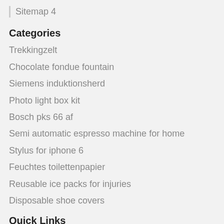Sitemap 4
Categories
Trekkingzelt
Chocolate fondue fountain
Siemens induktionsherd
Photo light box kit
Bosch pks 66 af
Semi automatic espresso machine for home
Stylus for iphone 6
Feuchtes toilettenpapier
Reusable ice packs for injuries
Disposable shoe covers
Quick Links